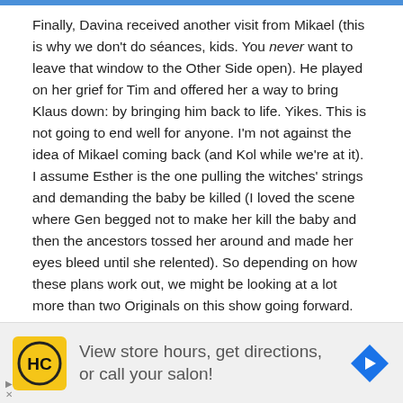Finally, Davina received another visit from Mikael (this is why we don't do séances, kids. You never want to leave that window to the Other Side open). He played on her grief for Tim and offered her a way to bring Klaus down: by bringing him back to life. Yikes. This is not going to end well for anyone. I'm not against the idea of Mikael coming back (and Kol while we're at it). I assume Esther is the one pulling the witches' strings and demanding the baby be killed (I loved the scene where Gen begged not to make her kill the baby and then the ancestors tossed her around and made her eyes bleed until she relented). So depending on how these plans work out, we might be looking at a lot more than two Originals on this show going forward.
e's one more thing that stood out in my mind during these
[Figure (other): Advertisement banner: HC logo (yellow background with HC text in black circle), text 'View store hours, get directions, or call your salon!' and a blue navigation arrow icon]